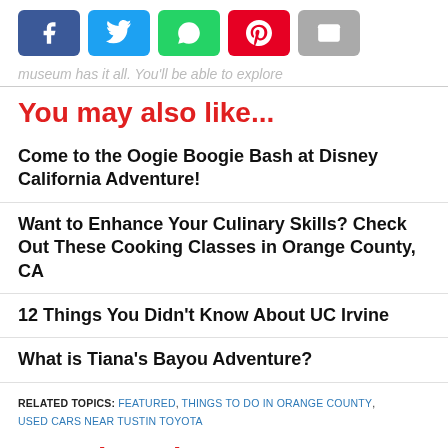[Figure (other): Social sharing buttons: Facebook (blue), Twitter (cyan), WhatsApp (green), Pinterest (red), Email (gray)]
museum has it all. You'll be able to explore
You may also like...
Come to the Oogie Boogie Bash at Disney California Adventure!
Want to Enhance Your Culinary Skills? Check Out These Cooking Classes in Orange County, CA
12 Things You Didn't Know About UC Irvine
What is Tiana's Bayou Adventure?
RELATED TOPICS: FEATURED, THINGS TO DO IN ORANGE COUNTY, USED CARS NEAR TUSTIN TOYOTA
More in Culture